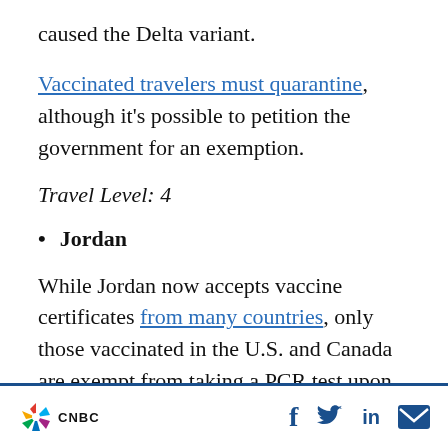caused the Delta variant.
Vaccinated travelers must quarantine, although it's possible to petition the government for an exemption.
Travel Level: 4
Jordan
While Jordan now accepts vaccine certificates from many countries, only those vaccinated in the U.S. and Canada are exempt from taking a PCR test upon arrival. From June 15, vaccinated visitors are also not subject to curfew
CNBC